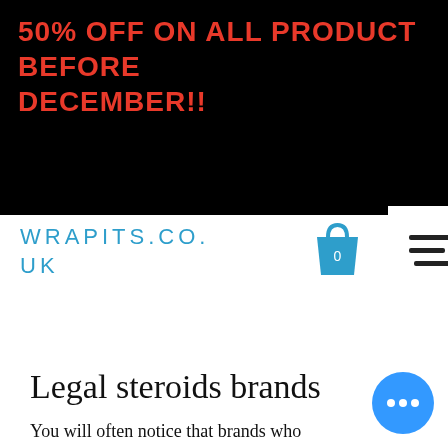50% OFF ON ALL PRODUCT BEFORE DECEMBER!!
[Figure (logo): WRAPITS.CO.UK logo in blue on black background with shopping cart icon and hamburger menu button]
Legal steroids brands
You will often notice that brands who manufacture legal steroids recommend